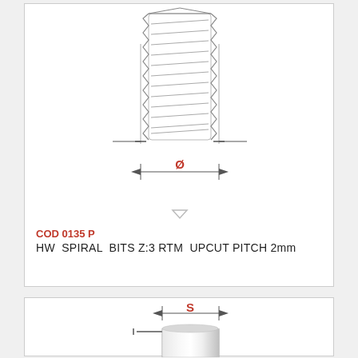[Figure (engineering-diagram): Technical drawing of a spiral milling bit shown from front view with diameter dimension arrow labeled Ø (phi) in red, with tick marks on either side indicating the diameter measurement]
COD 0135 P
HW  SPIRAL  BITS Z:3 RTM  UPCUT PITCH 2mm
[Figure (engineering-diagram): Technical drawing of a cylindrical shank shown from front view with shank diameter dimension arrow labeled S in red]